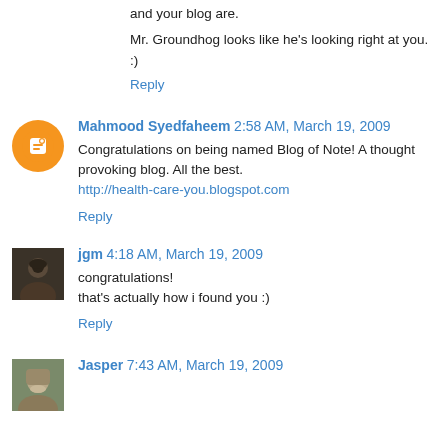Mr. Groundhog looks like he's looking right at you. :)
Reply
Mahmood Syedfaheem  2:58 AM, March 19, 2009
Congratulations on being named Blog of Note! A thought provoking blog. All the best.
http://health-care-you.blogspot.com
Reply
jgm  4:18 AM, March 19, 2009
congratulations!
that's actually how i found you :)
Reply
Jasper  7:43 AM, March 19, 2009